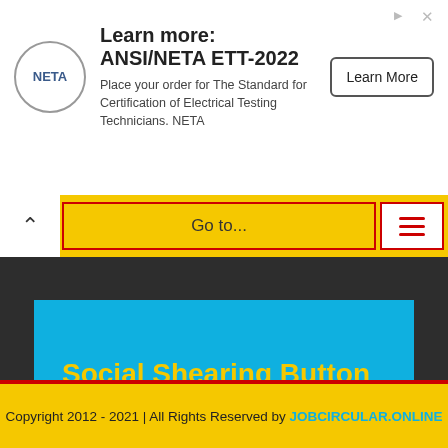[Figure (screenshot): NETA advertisement banner with logo, title 'Learn more: ANSI/NETA ETT-2022', body text, and Learn More button]
Go to...
Social Shearing Button
[Figure (other): Row of social media icon circles: Facebook, Instagram, LinkedIn, Twitter, Pinterest]
Copyright 2012 - 2021 | All Rights Reserved by JOBCIRCULAR.ONLINE